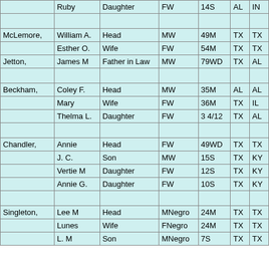| Surname | Given Name | Relationship | Sex/Race | Age/Marital | State Born | Father Born |
| --- | --- | --- | --- | --- | --- | --- |
|  | Ruby | Daughter | FW | 14S | AL | IN |
|  |  |  |  |  |  |  |
| McLemore, | William A. | Head | MW | 49M | TX | TX |
|  | Esther O. | Wife | FW | 54M | TX | TX |
| Jetton, | James M | Father in Law | MW | 79WD | TX | AL |
|  |  |  |  |  |  |  |
| Beckham, | Coley F. | Head | MW | 35M | AL | AL |
|  | Mary | Wife | FW | 36M | TX | IL |
|  | Thelma L. | Daughter | FW | 3 4/12 | TX | AL |
|  |  |  |  |  |  |  |
| Chandler, | Annie | Head | FW | 49WD | TX | TX |
|  | J. C. | Son | MW | 15S | TX | KY |
|  | Vertie M | Daughter | FW | 12S | TX | KY |
|  | Annie G. | Daughter | FW | 10S | TX | KY |
|  |  |  |  |  |  |  |
| Singleton, | Lee M | Head | MNegro | 24M | TX | TX |
|  | Lunes | Wife | FNegro | 24M | TX | TX |
|  | L. M | Son | MNegro | 7S | TX | TX |